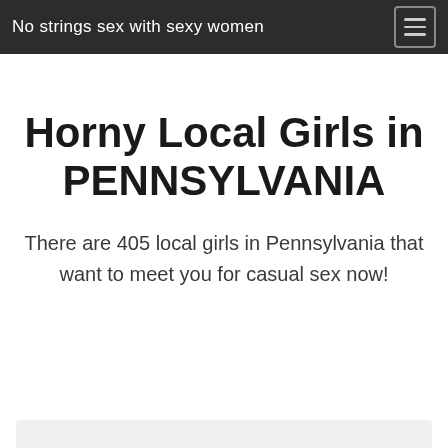No strings sex with sexy women
Horny Local Girls in PENNSYLVANIA
There are 405 local girls in Pennsylvania that want to meet you for casual sex now!